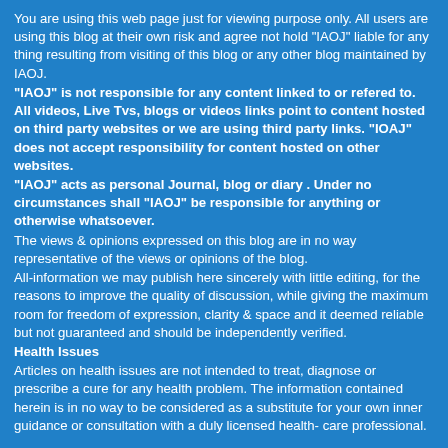You are using this web page just for viewing purpose only. All users are using this blog at their own risk and agree not hold "IAOJ" liable for any thing resulting from visiting of this blog or any other blog maintained by IAOJ.
"IAOJ" is not responsible for any content linked to or refered to. All videos, Live Tvs, blogs or videos links point to content hosted on third party websites or we are using third party links. "IOAJ" does not accept responsibility for content hosted on other websites.
"IAOJ" acts as personal Journal, blog or diary . Under no circumstances shall "IAOJ" be responsible for anything or otherwise whatsoever.
The views & opinions expressed on this blog are in no way representative of the views or opinions of the blog.
All-information we may publish here sincerely with little editing, for the reasons to improve the quality of discussion, while giving the maximum room for freedom of expression, clarity & space and it deemed reliable but not guaranteed and should be independently verified.
Health Issues
Articles on health issues are not intended to treat, diagnose or prescribe a cure for any health problem. The information contained herein is in no way to be considered as a substitute for your own inner guidance or consultation with a duly licensed health- care professional.